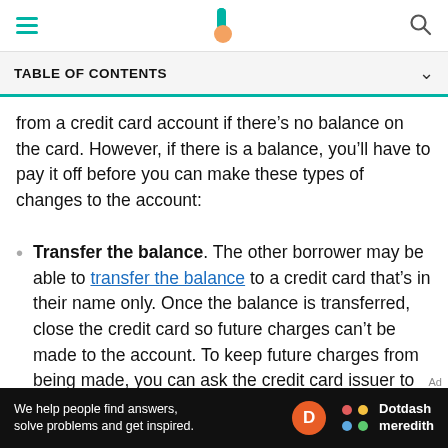Navigation bar with hamburger menu, Investopedia logo, and search icon
TABLE OF CONTENTS
from a credit card account if there's no balance on the card. However, if there is a balance, you'll have to pay it off before you can make these types of changes to the account:
Transfer the balance. The other borrower may be able to transfer the balance to a credit card that's in their name only. Once the balance is transferred, close the credit card so future charges can't be made to the account. To keep future charges from being made, you can ask the credit card issuer to add a comment in their
We help people find answers, solve problems and get inspired. Dotdash meredith